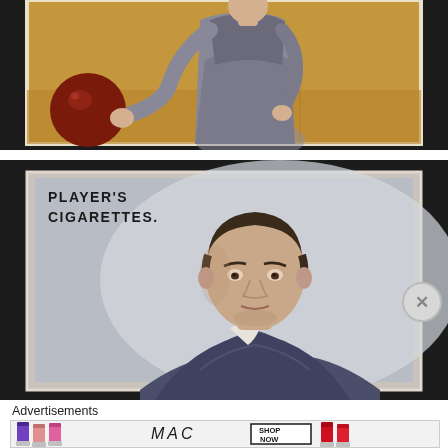[Figure (illustration): Top portion of a vintage cigarette card showing a woman in a long grey dress holding a bowling ball, set against a golden/brown background. The card is partially cropped at top.]
[Figure (illustration): Vintage Player's Cigarettes card featuring a portrait illustration of a male rugby player in a dark blue/grey jersey with white collar, upper body shown against a light grey background. Text in upper left reads 'PLAYER'S CIGARETTES.']
Advertisements
[Figure (photo): MAC Cosmetics advertisement banner showing multiple lipsticks (purple, peach/pink, pink, red) on either side of the MAC logo, with a 'SHOP NOW' button box in the center-right area.]